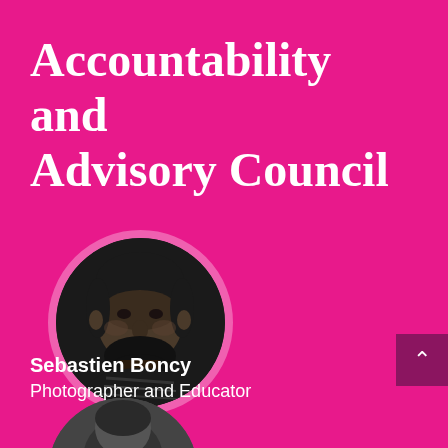Accountability and Advisory Council
[Figure (photo): Black and white circular headshot photo of Sebastien Boncy, a man with a beard]
Sebastien Boncy
Photographer and Educator
[Figure (photo): Partial circular headshot photo visible at bottom of page]